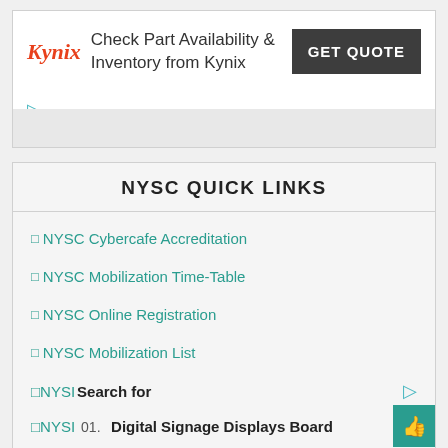[Figure (other): Kynix advertisement banner with logo, text 'Check Part Availability & Inventory from Kynix', and GET QUOTE button]
NYSC QUICK LINKS
□NYSC Cybercafe Accreditation
□NYSC Mobilization Time-Table
□NYSC Online Registration
□NYSC Mobilization List
□NYSISearch for
□NYSI 01. Digital Signage Displays Board
□NYSI 02. Prepaid Cellphones Plan For Seniors
Yahoo! Search | Sponsored